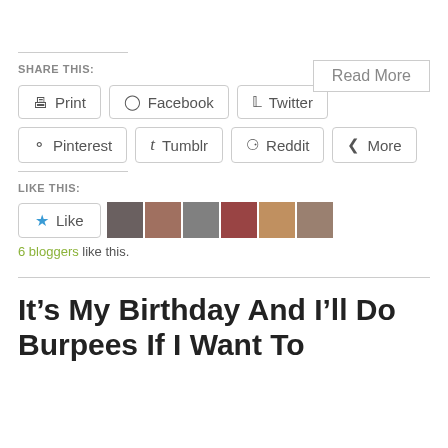Read More
SHARE THIS:
Print  Facebook  Twitter  Pinterest  Tumblr  Reddit  More
LIKE THIS:
Like
6 bloggers like this.
It’s My Birthday And I’ll Do Burpees If I Want To